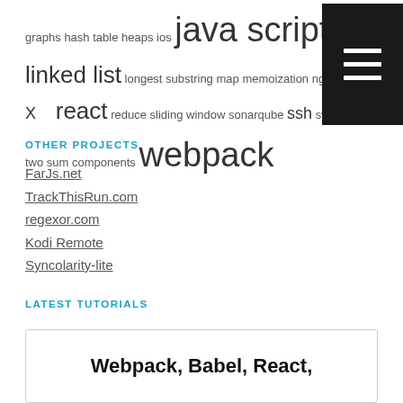graphs hash table heaps ios java script jenkins linked list longest substring map memoization nginx OS X react reduce sliding window sonarqube ssh swift tests two sum components webpack
OTHER PROJECTS
FarJs.net
TrackThisRun.com
regexor.com
Kodi Remote
Syncolarity-lite
LATEST TUTORIALS
Webpack, Babel, React,